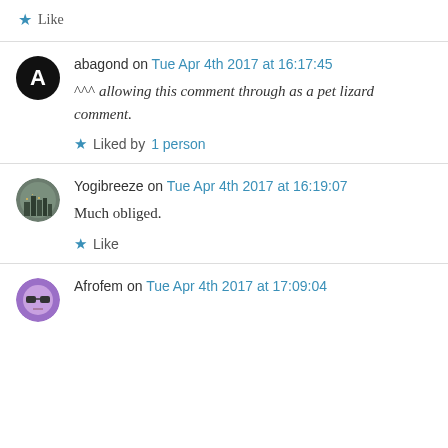★ Like
abagond on Tue Apr 4th 2017 at 16:17:45
^^^ allowing this comment through as a pet lizard comment.
★ Liked by 1 person
Yogibreeze on Tue Apr 4th 2017 at 16:19:07
Much obliged.
★ Like
Afrofem on Tue Apr 4th 2017 at 17:09:04